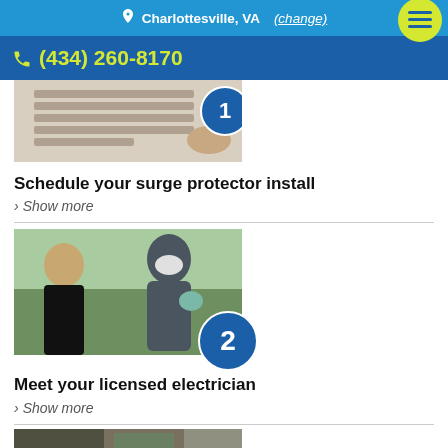Charlottesville, VA (change)
(434) 260-8170
[Figure (photo): Partial view of hands on a laptop keyboard with a blue numbered badge visible at the top right of the image]
Schedule your surge protector install
> Show more
[Figure (photo): A masked electrician in work uniform meeting with a customer outdoors, with a blue badge showing number 2]
Meet your licensed electrician
> Show more
[Figure (photo): Partial view of a third step image at the bottom of the page]